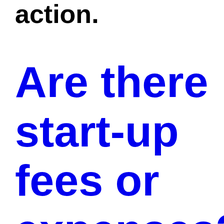action.
Are there start-up fees or expenses?